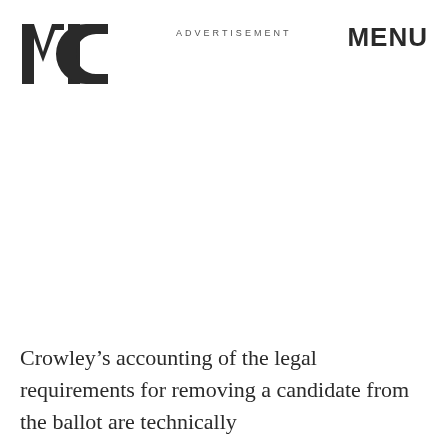MIC   ADVERTISEMENT   MENU
Crowley’s accounting of the legal requirements for removing a candidate from the ballot are technically